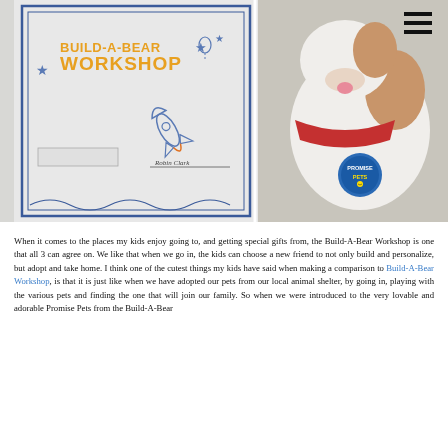[Figure (photo): Two-panel photo: left side shows a Build-A-Bear Workshop certificate/document with colorful stars and rocket ship illustrations; right side shows a white fluffy stuffed dog toy wearing a red bandana with a blue 'Promise Pets' circular tag]
When it comes to the places my kids enjoy going to, and getting special gifts from, the Build-A-Bear Workshop is one that all 3 can agree on. We like that when we go in, the kids can choose a new friend to not only build and personalize, but adopt and take home. I think one of the cutest things my kids have said when making a comparison to Build-A-Bear Workshop, is that it is just like when we have adopted our pets from our local animal shelter, by going in, playing with the various pets and finding the one that will join our family. So when we were introduced to the very lovable and adorable Promise Pets from the Build-A-Bear